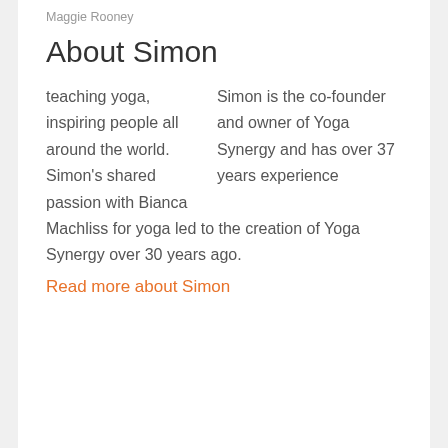Maggie Rooney
About Simon
Simon is the co-founder and owner of Yoga Synergy and has over 37 years experience teaching yoga, inspiring people all around the world.  Simon's shared passion with Bianca Machliss for yoga led to the creation of Yoga Synergy over 30 years ago.
Read more about Simon